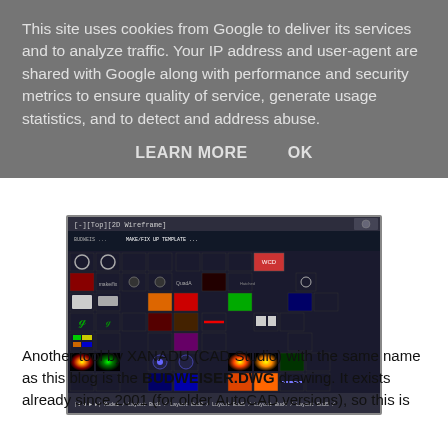This site uses cookies from Google to deliver its services and to analyze traffic. Your IP address and user-agent are shared with Google along with performance and security metrics to ensure quality of service, generate usage statistics, and to detect and address abuse.
LEARN MORE    OK
[Figure (screenshot): Screenshot of a CAD application (AutoCAD) showing a drawing named BUDWEISER.DWG with multiple layout tabs at the bottom: Model, Layout Bud1, Layout Bud2, Layout Bud3, Layout Bud4, Layout Bud5. The drawing appears to show a grid of colored symbols and CAD elements in wireframe/2D view.]
Another tool by XANADU (CAD Studio) with the same name as this blog is the BUDWEISER.DWG drawing. It exists already since 2001 (for older AutoCAD versions), so this is